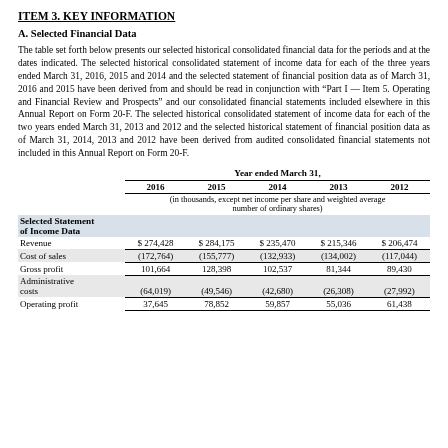ITEM 3. KEY INFORMATION
A. Selected Financial Data
The table set forth below presents our selected historical consolidated financial data for the periods and at the dates indicated. The selected historical consolidated statement of income data for each of the three years ended March 31, 2016, 2015 and 2014 and the selected statement of financial position data as of March 31, 2016 and 2015 have been derived from and should be read in conjunction with “Part I — Item 5. Operating and Financial Review and Prospects” and our consolidated financial statements included elsewhere in this Annual Report on Form 20-F. The selected historical consolidated statement of income data for each of the two years ended March 31, 2013 and 2012 and the selected historical statement of financial position data as of March 31, 2014, 2013 and 2012 have been derived from audited consolidated financial statements not included in this Annual Report on Form 20-F.
|  | 2016 | 2015 | 2014 | 2013 | 2012 |
| --- | --- | --- | --- | --- | --- |
| (in thousands, except net income per share and weighted average number of ordinary shares) |  |  |  |  |  |
| Selected Statement of Income Data |  |  |  |  |  |
| Revenue | $ 274,428 | $ 284,175 | $ 235,470 | $ 215,346 | $ 206,474 |
| Cost of sales | (172,764) | (155,777) | (132,933) | (134,002) | (117,044) |
| Gross profit | 101,664 | 128,398 | 102,537 | 81,344 | 89,430 |
| Administrative costs | (64,019) | (49,546) | (42,680) | (26,308) | (27,992) |
| Operating profit | 37,645 | 78,852 | 59,857 | 55,036 | 61,438 |